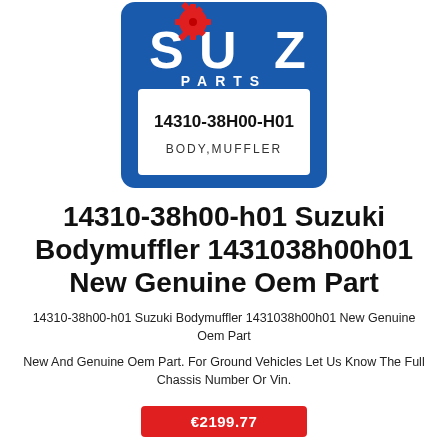[Figure (logo): Suzuki Parts logo: blue rounded rectangle with large letters S U Z in white, a red gear icon between S and U, and PARTS spelled below in white. A white inner box displays the part number 14310-38H00-H01 and description BODY,MUFFLER.]
14310-38h00-h01 Suzuki Bodymuffler 1431038h00h01 New Genuine Oem Part
14310-38h00-h01 Suzuki Bodymuffler 1431038h00h01 New Genuine Oem Part
New And Genuine Oem Part. For Ground Vehicles Let Us Know The Full Chassis Number Or Vin.
€2199.77